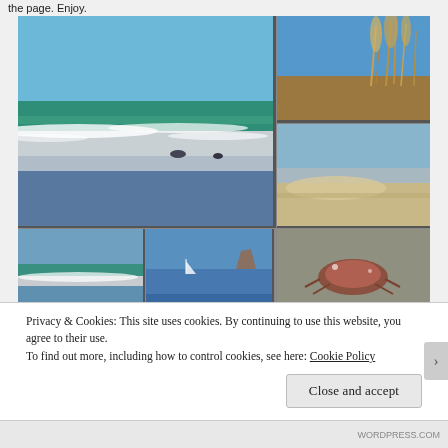the page. Enjoy.
[Figure (photo): Grid of six beach/ocean photos: large left image showing ocean waves breaking on shore with white foam; top right showing beach grass/reeds against blue sky; middle right showing a wide sandy beach with wet sand reflections; bottom left showing green waves; bottom middle showing ocean and cliffs; bottom right showing a crab or shell on sand.]
Privacy & Cookies: This site uses cookies. By continuing to use this website, you agree to their use.
To find out more, including how to control cookies, see here: Cookie Policy
Close and accept